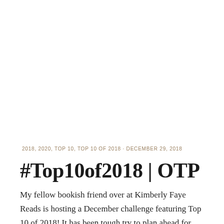2018, 2020, TOP 10, TOP 10 OF 2018 · DECEMBER 29, 2018
#Top10of2018 | OTP
My fellow bookish friend over at Kimberly Faye Reads is hosting a December challenge featuring Top 10 of 2018! It has been tough try to plan ahead for these